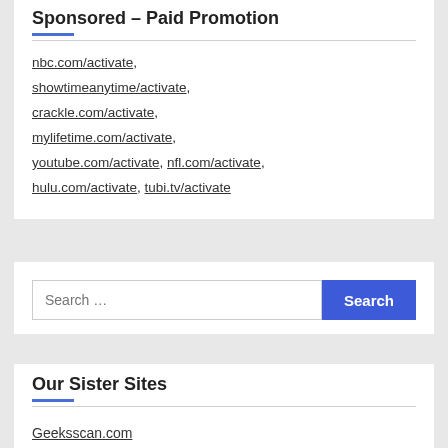Sponsored – Paid Promotion
nbc.com/activate, showtimeanytime/activate, crackle.com/activate, mylifetime.com/activate, youtube.com/activate, nfl.com/activate, hulu.com/activate, tubi.tv/activate
Search ...
Our Sister Sites
Geeksscan.com